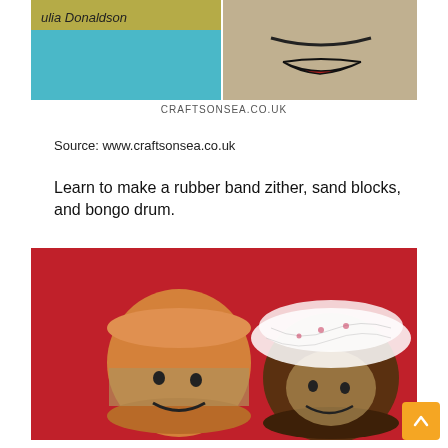[Figure (photo): Two-panel image: left panel shows a book cover with text 'Julia Donaldson' on a blue background; right panel shows a beige/brown paper craft face with drawn smile and lips on a gray background. Watermark 'CRAFTSONSEA.CO.UK' at bottom.]
CRAFTSONSEA.CO.UK
Source: www.craftsonsea.co.uk
Learn to make a rubber band zither, sand blocks, and bongo drum.
[Figure (photo): Photo on red background showing two craft figures that look like characters: left is an orange/tan cylindrical figure with a face (small eyes and smile) resembling a bread roll or orange character; right is a brown cylindrical figure wearing a white lacy veil or headpiece, also with a small face.]